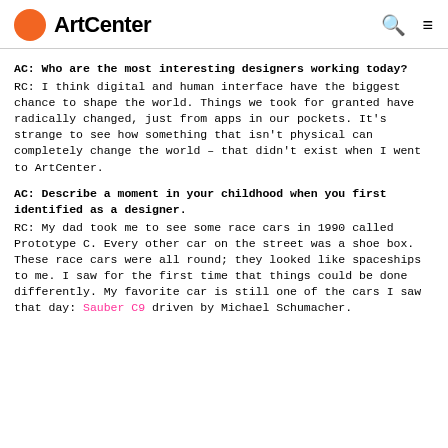ArtCenter
AC: Who are the most interesting designers working today? RC: I think digital and human interface have the biggest chance to shape the world. Things we took for granted have radically changed, just from apps in our pockets. It's strange to see how something that isn't physical can completely change the world – that didn't exist when I went to ArtCenter.
AC: Describe a moment in your childhood when you first identified as a designer. RC: My dad took me to see some race cars in 1990 called Prototype C. Every other car on the street was a shoe box. These race cars were all round; they looked like spaceships to me. I saw for the first time that things could be done differently. My favorite car is still one of the cars I saw that day: Sauber C9 driven by Michael Schumacher.